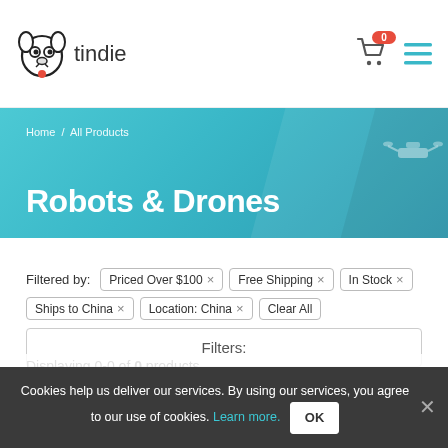[Figure (logo): Tindie dog logo with text 'tindie']
Home / All Products
Robots & Drones
Filtered by: Priced Over $100 × Free Shipping × In Stock × Ships to China × Location: China × Clear All
Filters:
Displaying 0-0 of 0 products
Sort By:
Cookies help us deliver our services. By using our services, you agree to our use of cookies. Learn more. OK